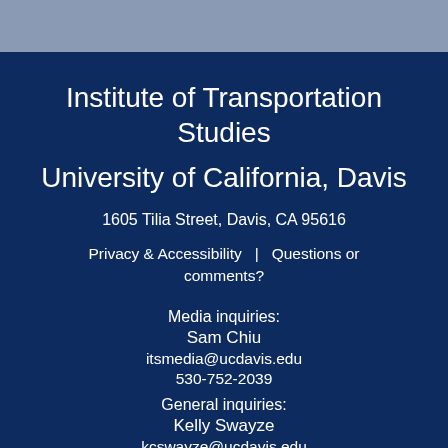[Figure (other): Steel blue horizontal header bar]
Institute of Transportation Studies
University of California, Davis
1605 Tilia Street, Davis, CA 95616
Privacy & Accessibility  |  Questions or comments?
Media inquiries:
Sam Chiu
itsmedia@ucdavis.edu
530-752-2039
General inquiries:
Kelly Swayze
kcswayze@ucdavis.edu